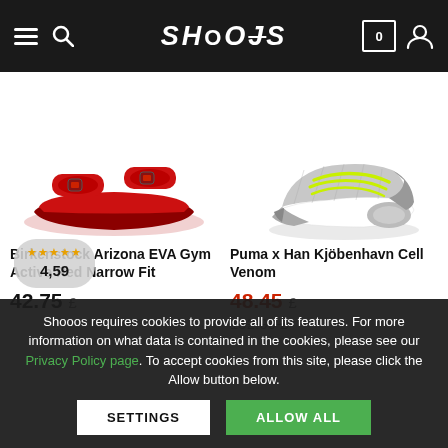SHOOOS - navigation header with hamburger menu, search, logo, cart (0), user icon
[Figure (photo): Red Birkenstock Arizona EVA sandal on white background]
[Figure (photo): Puma x Han Kjobenhavn Cell Venom sneaker in silver/grey/neon yellow on white background]
Birkenstock Arizona EVA Gym Active Red Narrow Fit
42.75 £
Puma x Han Kjöbenhavn Cell Venom
48.45 £
152.00 £
Shooos requires cookies to provide all of its features. For more information on what data is contained in the cookies, please see our Privacy Policy page. To accept cookies from this site, please click the Allow button below.
SETTINGS
ALLOW ALL